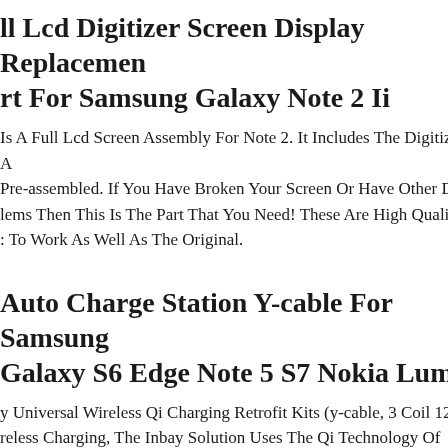ll Lcd Digitizer Screen Display Replacement For Samsung Galaxy Note 2 Ii
Is A Full Lcd Screen Assembly For Note 2. It Includes The Digitizer A Pre-assembled. If You Have Broken Your Screen Or Have Other Display lems Then This Is The Part That You Need! These Are High Quality A To Work As Well As The Original.
Auto Charge Station Y-cable For Samsung Galaxy S6 Edge Note 5 S7 Nokia Lumia
y Universal Wireless Qi Charging Retrofit Kits (y-cable, 3 Coil 12v). reless Charging, The Inbay Solution Uses The Qi Technology Of Induct er Transmission. This Prevents Wear And Tear On The Smartphone Du rging.
rger For Samsung Galaxy Note Tab 3, 4, A, E, S, S2, 7.0 8.0 Pro 8.4 9. Amsk Power Ac Adapters Are Ce, Fcc, Rohs Certified For Safety. -an